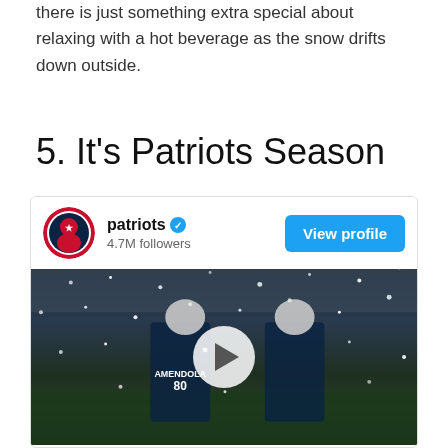We all know that New Englanders love their Dunkins, but there is just something extra special about relaxing with a hot beverage as the snow drifts down outside.
5. It's Patriots Season
[Figure (screenshot): Instagram embed card for the @patriots account (4.7M followers) with a View profile button, showing a snowy NFL game video thumbnail with a play button overlay. Players including #80 Amendola are visible in the snow.]